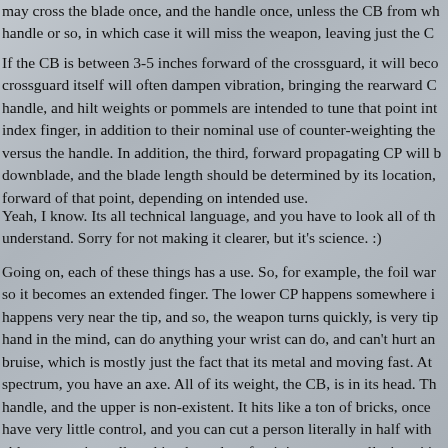may cross the blade once, and the handle once, unless the CB from wh handle or so, in which case it will miss the weapon, leaving just the C
If the CB is between 3-5 inches forward of the crossguard, it will beco crossguard itself will often dampen vibration, bringing the rearward C handle, and hilt weights or pommels are intended to tune that point int index finger, in addition to their nominal use of counter-weighting the versus the handle. In addition, the third, forward propagating CP will b downblade, and the blade length should be determined by its location, forward of that point, depending on intended use.
Yeah, I know. Its all technical language, and you have to look all of th understand. Sorry for not making it clearer, but it's science. :)
Going on, each of these things has a use. So, for example, the foil war so it becomes an extended finger. The lower CP happens somewhere i happens very near the tip, and so, the weapon turns quickly, is very tip hand in the mind, can do anything your wrist can do, and can't hurt an bruise, which is mostly just the fact that its metal and moving fast. At spectrum, you have an axe. All of its weight, the CB, is in its head. Th handle, and the upper is non-existent. It hits like a ton of bricks, once have very little control, and you can cut a person literally in half with able to parry it at all, and it takes a lot of training to use well, since it's mind as part of your hand.